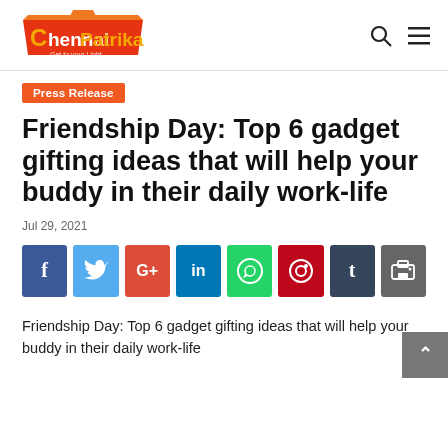Chennai Patrika
Press Release
Friendship Day: Top 6 gadget gifting ideas that will help your buddy in their daily work-life
Jul 29, 2021
[Figure (infographic): Social media share buttons: Facebook, Twitter, Google+, LinkedIn, WhatsApp, Pinterest, Tumblr, Print]
Friendship Day: Top 6 gadget gifting ideas that will help your buddy in their daily work-life